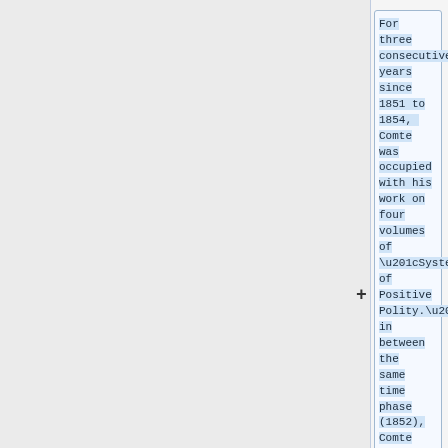For three consecutive years since 1851 to 1854,  Comte was occupied with his work on four volumes of “System of Positive Polity.” in between the same time phase (1852), Comte remained busy with “Catechism of Positive